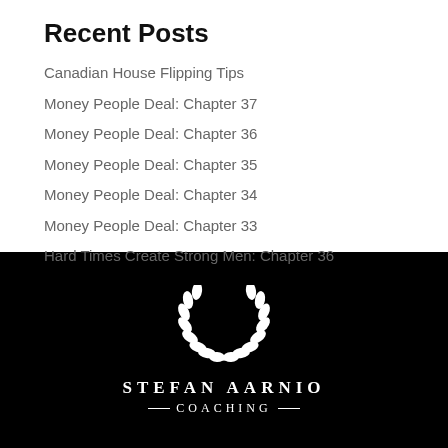Recent Posts
Canadian House Flipping Tips
Money People Deal: Chapter 37
Money People Deal: Chapter 36
Money People Deal: Chapter 35
Money People Deal: Chapter 34
Money People Deal: Chapter 33
Hard Times Create Strong Men: Chapter 36
[Figure (logo): Stefan Aarnio Coaching logo — white laurel wreath above the text STEFAN AARNIO with COACHING below on a black background]